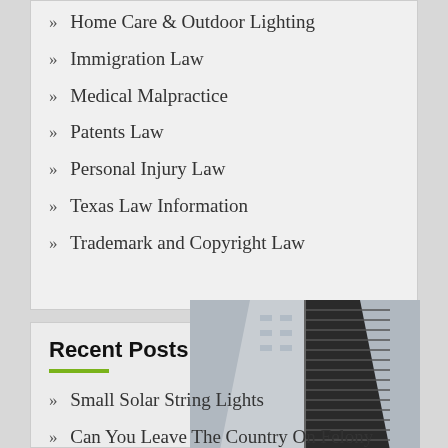Home Care & Outdoor Lighting
Immigration Law
Medical Malpractice
Patents Law
Personal Injury Law
Texas Law Information
Trademark and Copyright Law
Recent Posts
Small Solar String Lights
Can You Leave The Country On Felony
A Trade Name Cannot Be Registered If It Is Unusual